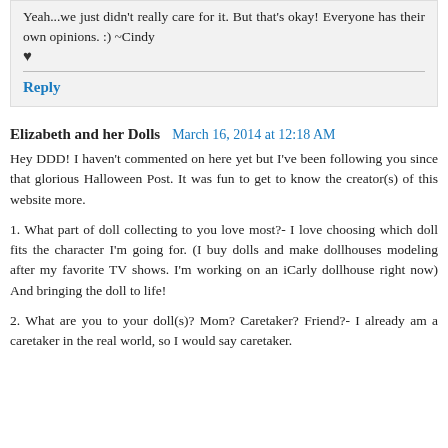Yeah...we just didn't really care for it. But that's okay! Everyone has their own opinions. :) ~Cindy ♥
Reply
Elizabeth and her Dolls  March 16, 2014 at 12:18 AM
Hey DDD! I haven't commented on here yet but I've been following you since that glorious Halloween Post. It was fun to get to know the creator(s) of this website more.
1. What part of doll collecting to you love most?- I love choosing which doll fits the character I'm going for. (I buy dolls and make dollhouses modeling after my favorite TV shows. I'm working on an iCarly dollhouse right now) And bringing the doll to life!
2. What are you to your doll(s)? Mom? Caretaker? Friend?- I already am a caretaker in the real world, so I would say caretaker.